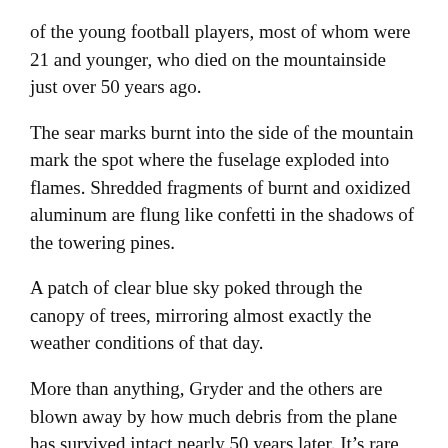of the young football players, most of whom were 21 and younger, who died on the mountainside just over 50 years ago.
The sear marks burnt into the side of the mountain mark the spot where the fuselage exploded into flames. Shredded fragments of burnt and oxidized aluminum are flung like confetti in the shadows of the towering pines.
A patch of clear blue sky poked through the canopy of trees, mirroring almost exactly the weather conditions of that day.
More than anything, Gryder and the others are blown away by how much debris from the plane has survived intact nearly 50 years later. It’s rare that any wreckage remains, he said, and sometimes it might take him all day just to find a tiny scrap of the plane.
Typically, the pieces are immediately removed after the forensic investigation which, according to the NTSB, is the decision of either the owner of the plane or insurance